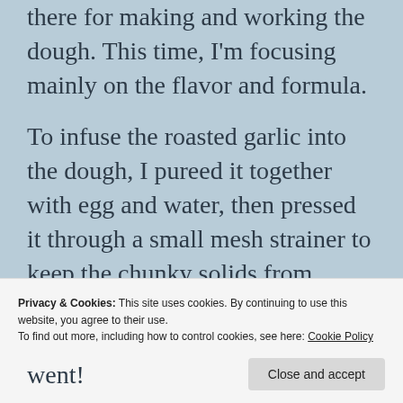there for making and working the dough. This time, I'm focusing mainly on the flavor and formula.
To infuse the roasted garlic into the dough, I pureed it together with egg and water, then pressed it through a small mesh strainer to keep the chunky solids from messing up the dough. I strengthened the dough by
Privacy & Cookies: This site uses cookies. By continuing to use this website, you agree to their use.
To find out more, including how to control cookies, see here: Cookie Policy
went!